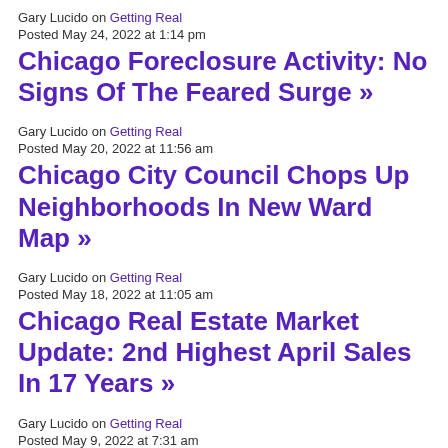Gary Lucido on Getting Real
Posted May 24, 2022 at 1:14 pm
Chicago Foreclosure Activity: No Signs Of The Feared Surge »
Gary Lucido on Getting Real
Posted May 20, 2022 at 11:56 am
Chicago City Council Chops Up Neighborhoods In New Ward Map »
Gary Lucido on Getting Real
Posted May 18, 2022 at 11:05 am
Chicago Real Estate Market Update: 2nd Highest April Sales In 17 Years »
Gary Lucido on Getting Real
Posted May 9, 2022 at 7:31 am
Featured Posts